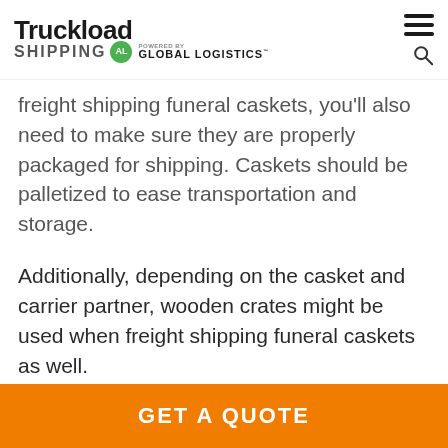Truckload Shipping - powered by AL Global Logistics
freight shipping funeral caskets, you'll also need to make sure they are properly packaged for shipping. Caskets should be palletized to ease transportation and storage.
Additionally, depending on the casket and carrier partner, wooden crates might be used when freight shipping funeral caskets as well.
Dunnage or packing materials can insulate
GET A QUOTE